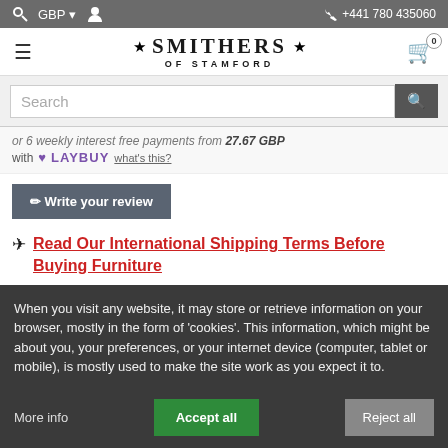GBP  +441 780 435060
[Figure (logo): Smithers of Stamford logo with stars]
Search
or 6 weekly interest free payments from 27.67 GBP with LAYBUY what's this?
Write your review
Read Our International Shipping Terms Before Buying Furniture
When you visit any website, it may store or retrieve information on your browser, mostly in the form of 'cookies'. This information, which might be about you, your preferences, or your internet device (computer, tablet or mobile), is mostly used to make the site work as you expect it to.
More info  Accept all  Reject all